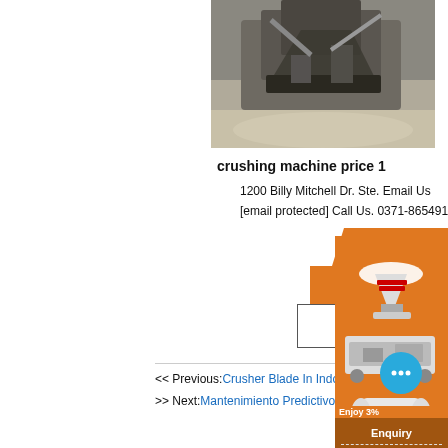[Figure (photo): Photo of a crushing machine in operation outdoors with rocks and dust]
crushing machine price 1
1200 Billy Mitchell Dr. Ste. Email Us
[email protected] Call Us. 0371-86549134
More
Get Price
Email contact
<< Previous:Crusher Blade In Indonesia
>> Next:Mantenimiento Predictivo De Una Tri...
[Figure (photo): Orange advertisement sidebar showing crushing/milling machines with text 'Enjoy 3%' and 'Click t...' and a chat bubble icon]
Enquiry
limingjlmofen@sina.com